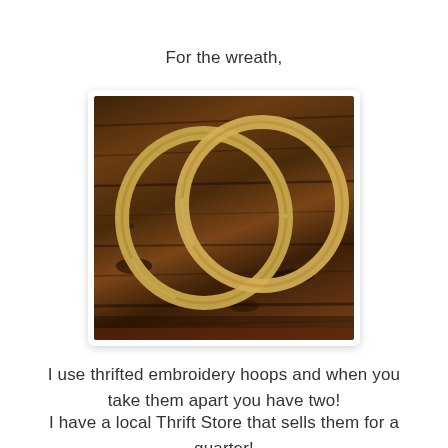For the wreath,
[Figure (photo): Two wooden embroidery hoops overlapping on a dark wooden table surface]
I use thrifted embroidery hoops and when you take them apart you have two!
I have a local Thrift Store that sells them for a quarter!